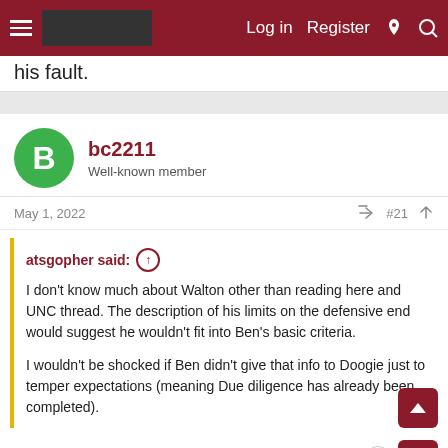Log in  Register
his fault.
bc2211
Well-known member
May 1, 2022  #21
atsgopher said: ↑
I don't know much about Walton other than reading here and UNC thread. The description of his limits on the defensive end would suggest he wouldn't fit into Ben's basic criteria.

I wouldn't be shocked if Ben didn't give that info to Doogie just to temper expectations (meaning Due diligence has already been completed).
He's probably looking for a big role, and maybe that's something BJ cannot guarantee because of the defense, however, IMO you can never have too many shooters. You